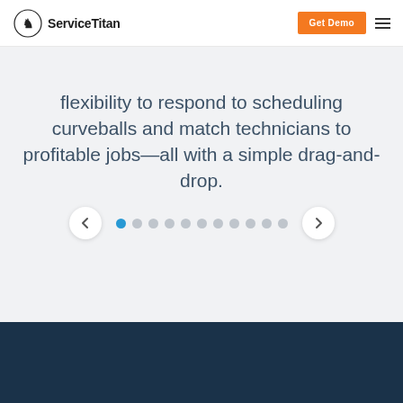[Figure (logo): ServiceTitan logo with horse-knight icon and bold text 'ServiceTitan']
flexibility to respond to scheduling curveballs and match technicians to profitable jobs—all with a simple drag-and-drop.
[Figure (infographic): Carousel navigation with left arrow button, 11 pagination dots (first dot active/blue, rest gray), and right arrow button]
[Figure (other): Dark navy blue footer band at the bottom of the page]